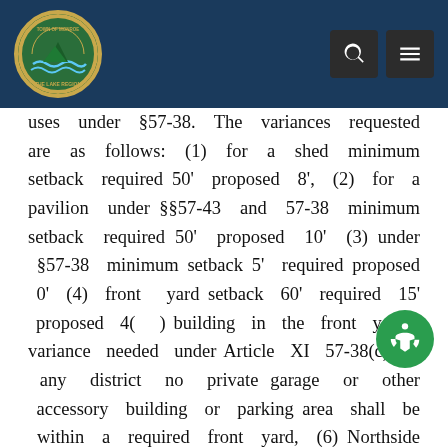Town of Monroe - The Lake Region (header with logo and navigation icons)
uses under §57-38. The variances requested are as follows: (1) for a shed minimum setback required 50' proposed 8', (2) for a pavilion under §§57-43 and 57-38 minimum setback required 50' proposed 10' (3) under §57-38 minimum setback 5' required proposed 0' (4) front yard setback 60' required 15' proposed 4(...) building in the front yard variance needed under Article XI 57-38(c) In any district no private garage or other accessory building or parking area shall be within a required front yard, (6) Northside Shed under 57-43 shoreline setback 50' required 30' proposed encroachment 30'. The lands affected by this application are located at 485 State Route 208 in the Town of